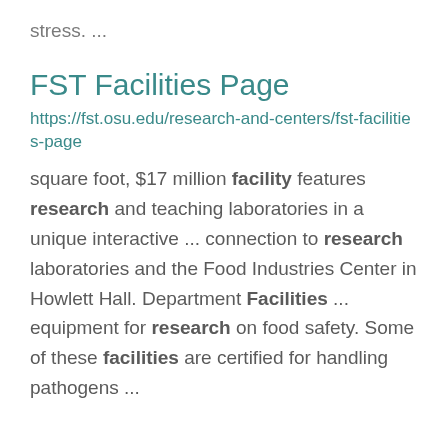stress.  ...
FST Facilities Page
https://fst.osu.edu/research-and-centers/fst-facilities-page
square foot, $17 million facility features research and teaching laboratories in a unique interactive ... connection to research laboratories and the Food Industries Center in Howlett Hall. Department Facilities ... equipment for research on food safety. Some of these facilities are certified for handling pathogens ...